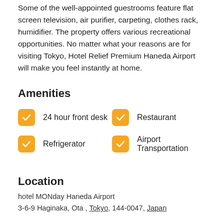Some of the well-appointed guestrooms feature flat screen television, air purifier, carpeting, clothes rack, humidifier. The property offers various recreational opportunities. No matter what your reasons are for visiting Tokyo, Hotel Relief Premium Haneda Airport will make you feel instantly at home.
Amenities
24 hour front desk
Restaurant
Refrigerator
Airport Transportation
Location
hotel MONday Haneda Airport
3-6-9 Haginaka, Ota , Tokyo, 144-0047, Japan